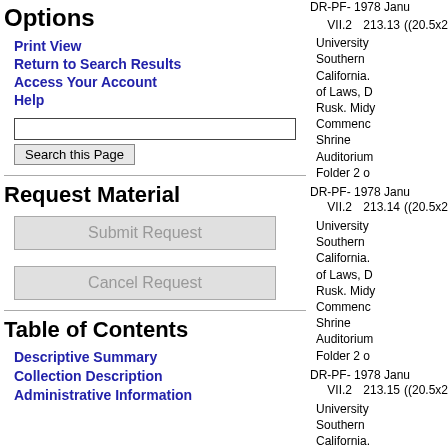Options
Print View
Return to Search Results
Access Your Account
Help
Request Material
Table of Contents
Descriptive Summary
Collection Description
Administrative Information
DR-PF- 1978 Janu
VII.2  213.13  ((20.5x25.
University Southern California. of Laws, D Rusk. Midy Commenc Shrine Auditorium Folder 2 o
DR-PF- 1978 Janu
VII.2  213.14  ((20.5x25.
University Southern California. of Laws, D Rusk. Midy Commenc Shrine Auditorium Folder 2 o
DR-PF- 1978 Janu
VII.2  213.15  ((20.5x25.
University Southern California. of Laws,